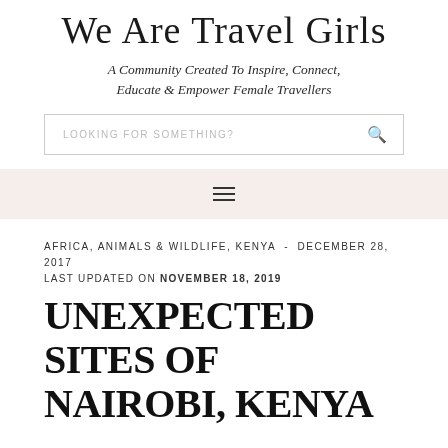We Are Travel Girls
A Community Created To Inspire, Connect, Educate & Empower Female Travellers
LOOKING FOR SOMETHING?
☰
AFRICA, ANIMALS & WILDLIFE, KENYA - DECEMBER 28, 2017
LAST UPDATED ON NOVEMBER 18, 2019
UNEXPECTED SITES OF NAIROBI, KENYA